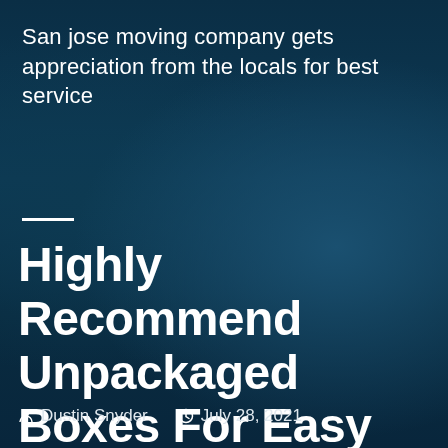[Figure (photo): Two movers in dark uniforms carrying boxes, photographed from a low angle with a dark teal color overlay on the entire image.]
San jose moving company gets appreciation from the locals for best service
Highly Recommend Unpackaged Boxes For Easy Moves
Dustin Snyder   July 28, 2021